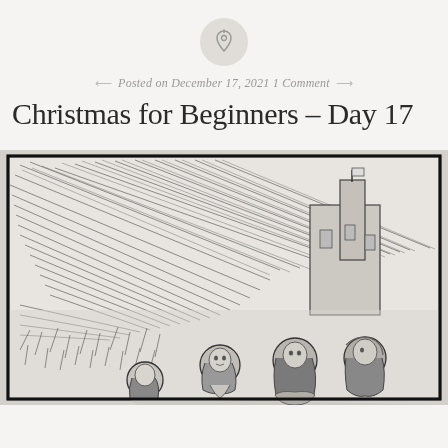[Figure (illustration): A circular pin/bookmark icon with a thumbtack symbol inside]
Posted on December 17, 2021 1 Comment
Christmas for Beginners – Day 17
[Figure (illustration): A pencil sketch illustration showing a nativity or winter scene with figures (women/people) in the foreground at bottom right, dramatic hatching lines suggesting wind or sky in the upper portion, and a building with a tower/steeple in the background. Black border frame around the sketch.]